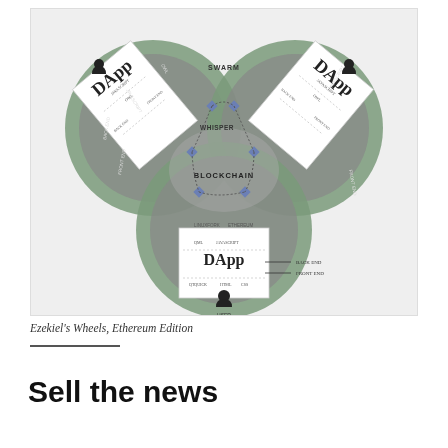[Figure (engineering-diagram): Ezekiel's Wheels Ethereum Edition: Three interlocking circles each containing a DApp architecture diagram. The top-left and top-right circles show rotated DApp cards with labels like SWARM, WHISPER, BLOCKCHAIN, ETHEREUM, JAVASCRIPT, OWL, and connection nodes. The bottom circle shows a DApp card with labels QML, JAVASCRIPT, QTQUICK, HTML, CSS, BACK END, FRONT END, and a USER icon at the bottom. The center shows BLOCKCHAIN with diamond-shaped connectors linking all three circles.]
Ezekiel's Wheels, Ethereum Edition
Sell the news